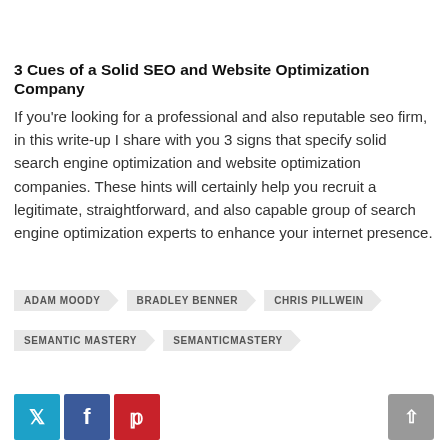3 Cues of a Solid SEO and Website Optimization Company
If you're looking for a professional and also reputable seo firm, in this write-up I share with you 3 signs that specify solid search engine optimization and website optimization companies. These hints will certainly help you recruit a legitimate, straightforward, and also capable group of search engine optimization experts to enhance your internet presence.
ADAM MOODY
BRADLEY BENNER
CHRIS PILLWEIN
SEMANTIC MASTERY
SEMANTICMASTERY